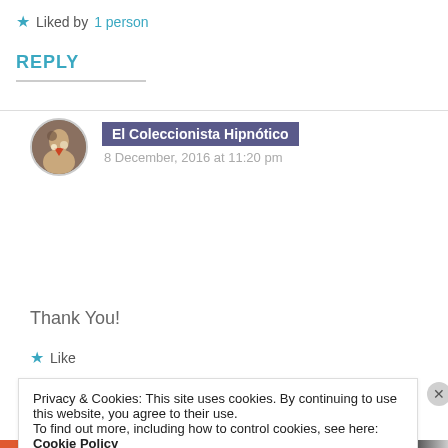★ Liked by 1 person
REPLY
El Coleccionista Hipnótico
8 December, 2016 at 11:20 pm
Thank You!
★ Like
Privacy & Cookies: This site uses cookies. By continuing to use this website, you agree to their use.
To find out more, including how to control cookies, see here: Cookie Policy
Close and accept